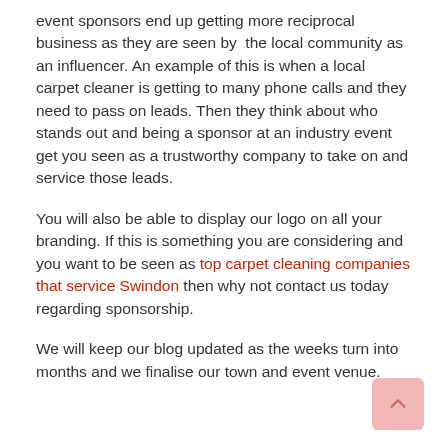event sponsors end up getting more reciprocal business as they are seen by the local community as an influencer. An example of this is when a local carpet cleaner is getting to many phone calls and they need to pass on leads. Then they think about who stands out and being a sponsor at an industry event get you seen as a trustworthy company to take on and service those leads.
You will also be able to display our logo on all your branding. If this is something you are considering and you want to be seen as top carpet cleaning companies that service Swindon then why not contact us today regarding sponsorship.
We will keep our blog updated as the weeks turn into months and we finalise our town and event venue.